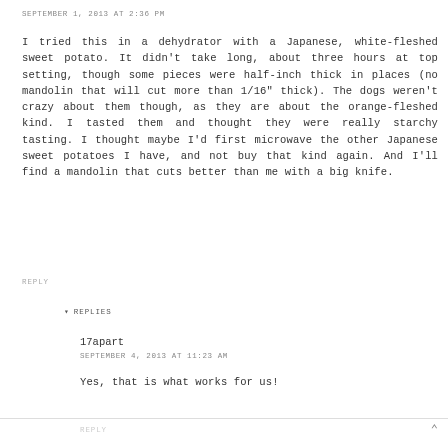SEPTEMBER 1, 2013 AT 2:36 PM
I tried this in a dehydrator with a Japanese, white-fleshed sweet potato. It didn't take long, about three hours at top setting, though some pieces were half-inch thick in places (no mandolin that will cut more than 1/16" thick). The dogs weren't crazy about them though, as they are about the orange-fleshed kind. I tasted them and thought they were really starchy tasting. I thought maybe I'd first microwave the other Japanese sweet potatoes I have, and not buy that kind again. And I'll find a mandolin that cuts better than me with a big knife.
REPLY
▾ REPLIES
17apart
SEPTEMBER 4, 2013 AT 11:23 AM
Yes, that is what works for us!
REPLY